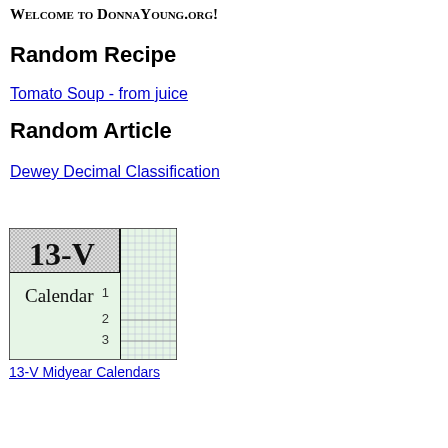Welcome to DonnaYoung.org!
Random Recipe
Tomato Soup - from juice
Random Article
Dewey Decimal Classification
[Figure (illustration): Preview image of a 13-V Midyear Calendar showing a grid-style calendar layout with numbered rows and the text '13-V Calendar']
13-V Midyear Calendars